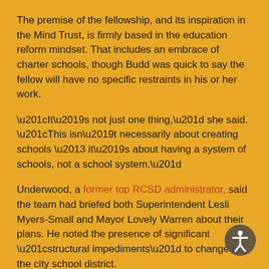The premise of the fellowship, and its inspiration in the Mind Trust, is firmly based in the education reform mindset. That includes an embrace of charter schools, though Budd was quick to say the fellow will have no specific restraints in his or her work.
“It’s not just one thing,” she said. “This isn’t necessarily about creating schools – it’s about having a system of schools, not a school system.”
Underwood, a former top RCSD administrator, said the team had briefed both Superintendent Lesli Myers-Small and Mayor Lovely Warren about their plans. He noted the presence of significant “structural impediments” to change in the city school district.
“It might be a charter school or two or three,” he said. “It might be, ‘Hey, the district is doing a great thing here, if we c… (expand on it).’ … But I suspect it’ll be something different.